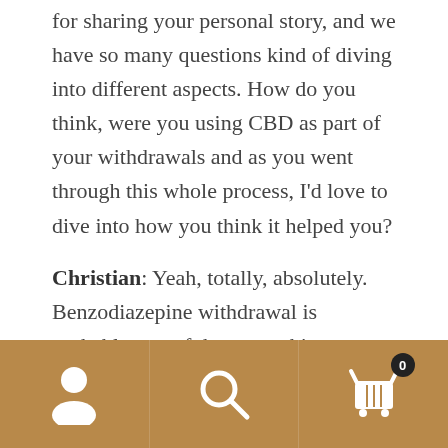for sharing your personal story, and we have so many questions kind of diving into different aspects. How do you think, were you using CBD as part of your withdrawals and as you went through this whole process, I'd love to dive into how you think it helped you?
Christian: Yeah, totally, absolutely. Benzodiazepine withdrawal is probably one of the worst things anyone can go through, extreme anxiety, paranoia, fear, terror. CBD, it's not like it eliminated those symptoms for me by any means, but it did really augment my recovery. I kind of look at like, I was kind of pushed back into being a child again, like my brain
[Figure (other): Bottom navigation bar with tan/golden-brown background. Three icon buttons: user/person icon (left), search/magnifying glass icon (center), shopping cart icon with badge showing '0' (right).]